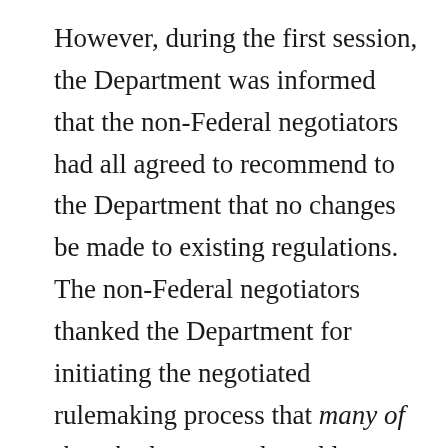However, during the first session, the Department was informed that the non-Federal negotiators had all agreed to recommend to the Department that no changes be made to existing regulations. The non-Federal negotiators thanked the Department for initiating the negotiated rulemaking process that many of them had requested to address the borrower defenses issues. … In particular, the non-Federal negotiators recommended that the Department not pursue an attempt to